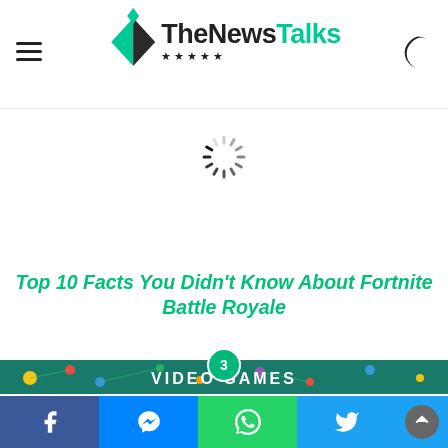TheNewsTalks
[Figure (other): Loading spinner animation icon]
Top 10 Facts You Didn't Know About Fortnite Battle Royale
[Figure (photo): Video Games banner image with colorful dots and circuit lines on teal background, number badge '3' overlaid]
Social sharing bar: Facebook, Messenger, WhatsApp, Twitter, scroll-up